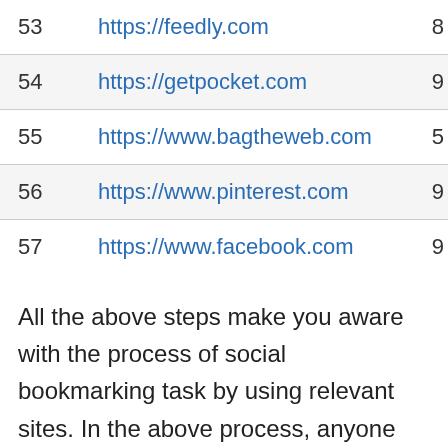| # | URL | Value |
| --- | --- | --- |
| 53 | https://feedly.com | 8 |
| 54 | https://getpocket.com | 9 |
| 55 | https://www.bagtheweb.com | 5 |
| 56 | https://www.pinterest.com | 9 |
| 57 | https://www.facebook.com | 9 |
All the above steps make you aware with the process of social bookmarking task by using relevant sites. In the above process, anyone can perform this task and give a